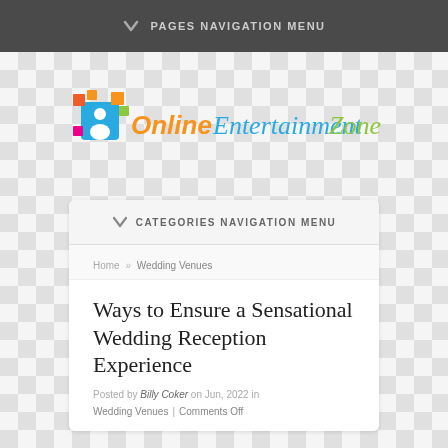PAGES NAVIGATION MENU
[Figure (logo): Online Entertainment Zone logo with colorful square pixels and stylized text]
CATEGORIES NAVIGATION MENU
Home » Wedding Venues
Ways to Ensure a Sensational Wedding Reception Experience
Posted by Billy Coker on Jun, 2022 in
Wedding Venues | Comments Off